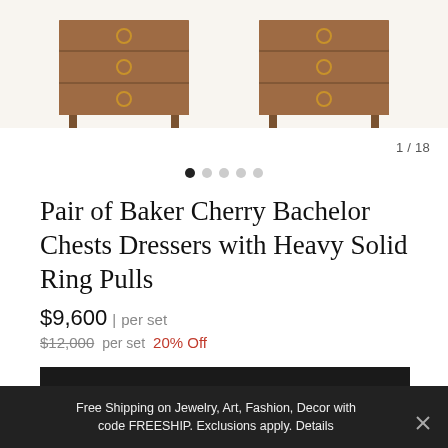[Figure (photo): Two Baker cherry bachelor chest dressers with heavy solid ring pulls, partial top view cropped at image top]
1 / 18
Pair of Baker Cherry Bachelor Chests Dressers with Heavy Solid Ring Pulls
$9,600 | per set
$12,000 per set  20% Off
PURCHASE
MAKE AN OFFER
Free Shipping on Jewelry, Art, Fashion, Decor with code FREESHIP. Exclusions apply. Details